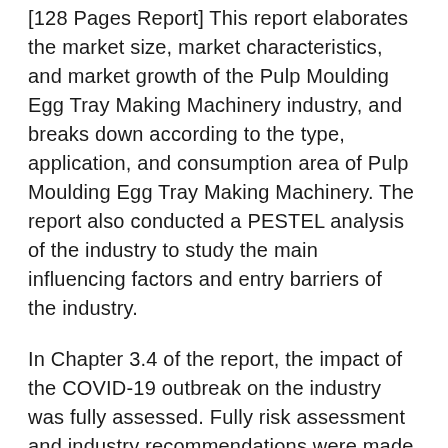[128 Pages Report] This report elaborates the market size, market characteristics, and market growth of the Pulp Moulding Egg Tray Making Machinery industry, and breaks down according to the type, application, and consumption area of Pulp Moulding Egg Tray Making Machinery. The report also conducted a PESTEL analysis of the industry to study the main influencing factors and entry barriers of the industry.
In Chapter 3.4 of the report, the impact of the COVID-19 outbreak on the industry was fully assessed. Fully risk assessment and industry recommendations were made for Pulp Moulding Egg Tray Making Machinery in a special period. This chapter also